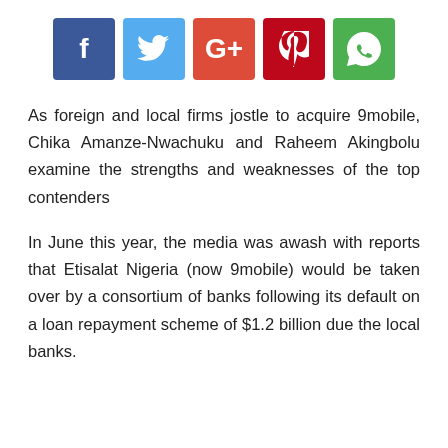[Figure (other): Social media share buttons: Facebook (blue), Twitter (light blue), Google+ (red-orange), Pinterest (dark red), WhatsApp (green)]
As foreign and local firms jostle to acquire 9mobile, Chika Amanze-Nwachuku and Raheem Akingbolu examine the strengths and weaknesses of the top contenders
In June this year, the media was awash with reports that Etisalat Nigeria (now 9mobile) would be taken over by a consortium of banks following its default on a loan repayment scheme of $1.2 billion due the local banks.